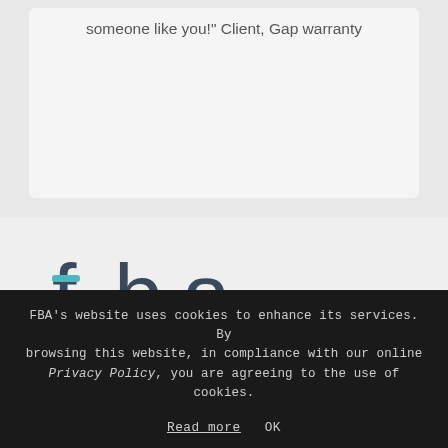someone like you!" Client, Gap warranty
[Figure (logo): FBA logo with 'fba' in dark blue/teal lettering and tagline 'LEGAL PROTECTION ASSISTANCE SOLUTIONS WARRANTIES AND CLAIMS' with a teal vertical bar accent]
FBA's website uses cookies to enhance its services. By browsing this website, in compliance with our online Privacy Policy, you are agreeing to the use of cookies.
Read more   OK